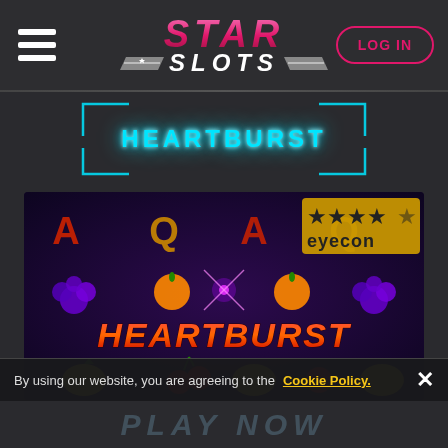Star Slots - LOG IN
HEARTBURST
[Figure (screenshot): Heartburst slot game screenshot showing card symbols (A, Q), fruit symbols (grapes, oranges, strawberries, cherries, lemons), and the HEARTBURST logo in red/orange gradient text. Eyecon logo with 4.5 star rating in gold stars shown top right of game image. Dark purple/indigo background.]
By using our website, you are agreeing to the Cookie Policy.
PLAY NOW